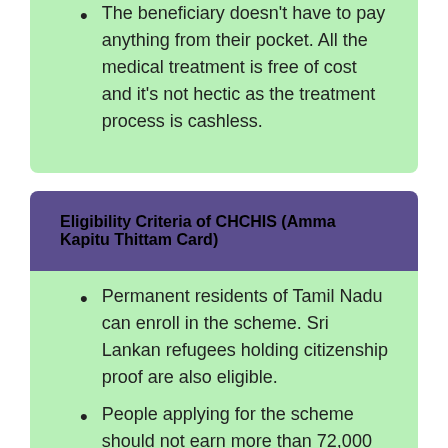The beneficiary doesn't have to pay anything from their pocket. All the medical treatment is free of cost and it's not hectic as the treatment process is cashless.
Eligibility Criteria of CHCHIS (Amma Kapitu Thittam Card)
Permanent residents of Tamil Nadu can enroll in the scheme. Sri Lankan refugees holding citizenship proof are also eligible.
People applying for the scheme should not earn more than 72,000 in a year.
Orphans or girl children rescued from…